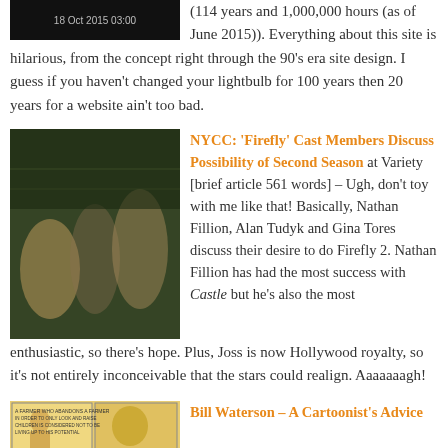[Figure (photo): Dark image with timestamp showing '18 Oct 2015 03:00']
(114 years and 1,000,000 hours (as of June 2015)). Everything about this site is hilarious, from the concept right through the 90's era site design. I guess if you haven't changed your lightbulb for 100 years then 20 years for a website ain't too bad.
[Figure (photo): Scene from Firefly TV show with cast members in a spaceship interior]
NYCC: 'Firefly' Cast Members Discuss Possibility of Second Season at Variety [brief article 561 words] – Ugh, don't toy with me like that! Basically, Nathan Fillion, Alan Tudyk and Gina Tores discuss their desire to do Firefly 2. Nathan Fillion has had the most success with Castle but he's also the most enthusiastic, so there's hope. Plus, Joss is now Hollywood royalty, so it's not entirely inconceivable that the stars could realign. Aaaaaaagh!
[Figure (illustration): Bill Waterson cartoon illustration]
Bill Waterson – A Cartoonist's Advice